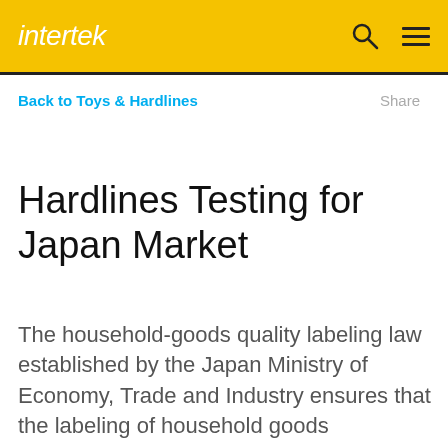intertek
Back to Toys & Hardlines
Share
Hardlines Testing for Japan Market
The household-goods quality labeling law established by the Japan Ministry of Economy, Trade and Industry ensures that the labeling of household goods